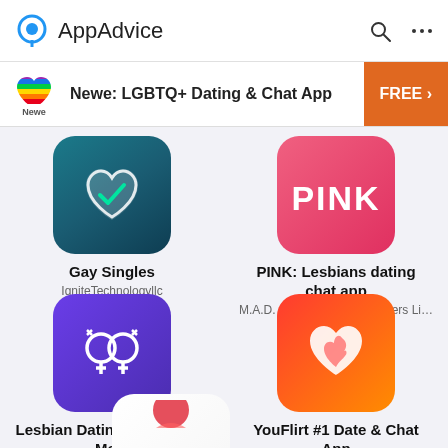AppAdvice
[Figure (screenshot): AppAdvice website header with logo icon, search icon, and menu icon]
[Figure (screenshot): Ad banner: Newe LGBTQ+ Dating & Chat App with rainbow heart icon and FREE button]
[Figure (screenshot): Gay Singles app icon - dark teal rounded square with heart and check]
Gay Singles
IgniteTechnologyllc
[Figure (screenshot): PINK: Lesbians dating chat app icon - pink gradient rounded square]
PINK: Lesbians dating chat app
M.A.D. Mobile Apps Developers Li…
[Figure (screenshot): Lesbian Dating Chat App & Meet icon - purple rounded square with female gender symbols]
Lesbian Dating Chat App & Meet
Meta Labs
[Figure (screenshot): YouFlirt #1 Date & Chat App icon - red to orange gradient rounded square with heart]
YouFlirt #1 Date & Chat App
HW Dating Apps
[Figure (screenshot): Partial app icon visible at bottom - white rounded square with red elements]